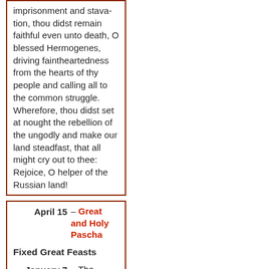imprisonment and starvation, thou didst remain faithful even unto death, O blessed Hermogenes, driving faintheartedness from the hearts of thy people and calling all to the common struggle. Wherefore, thou didst set at nought the rebellion of the ungodly and make our land steadfast, that all might cry out to thee: Rejoice, O helper of the Russian land!
April 15 – Great and Holy Pascha
Fixed Great Feasts
January 7 – The Nativity of our Lord God and Savior Jesus Christ
January 19 – The Baptism of Our Lord and God and Saviour Jesus Christ